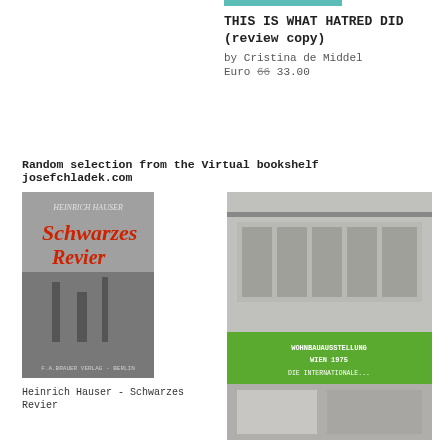[Figure (other): Teal/turquoise decorative bar above book title]
THIS IS WHAT HATRED DID
(review copy)
by Cristina de Middel
Euro 66 33.00
Random selection from the Virtual bookshelf josefchladek.com
[Figure (illustration): Book cover: Heinrich Hauser - Schwarzes Revier. Dark grey tones with red script title.]
Heinrich Hauser - Schwarzes Revier
[Figure (illustration): Book cover: Josef Frank - Die Internationale... Photomontage with green band showing exhibition text.]
Josef Frank - Die Internationale...
[Figure (photo): Book cover featuring a tribal figure standing on a beach with blue sky background.]
[Figure (illustration): Book cover with circular ring/gear shape on dark background. Karl Blossfeldt related.]